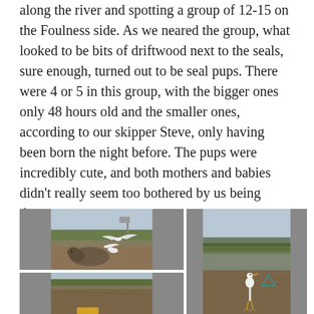along the river and spotting a group of 12-15 on the Foulness side. As we neared the group, what looked to be bits of driftwood next to the seals, sure enough, turned out to be seal pups. There were 4 or 5 in this group, with the bigger ones only 48 hours old and the smaller ones, according to our skipper Steve, only having been born the night before. The pups were incredibly cute, and both mothers and babies didn't really seem too bothered by us being there.
[Figure (photo): A seal pup lying on mudflats with seagulls flying and standing nearby, overcast sky.]
[Figure (photo): River mudflat scene with a teal/turquoise triangle watermark, grassy bank in background.]
[Figure (photo): Close-up of mudflats, partial view of river bank.]
[Figure (photo): A white egret/heron standing on mudflats near the river bank.]